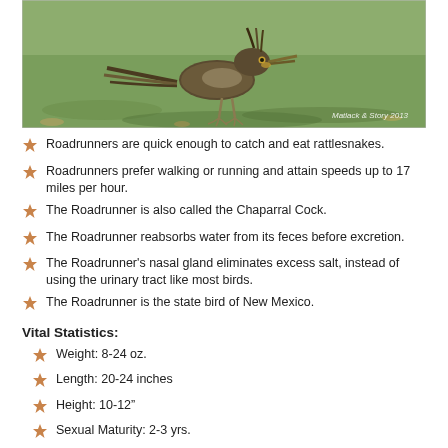[Figure (photo): A roadrunner bird standing on grass, with watermark text 'Matlack & Story 2013' in lower right corner.]
Roadrunners are quick enough to catch and eat rattlesnakes.
Roadrunners prefer walking or running and attain speeds up to 17 miles per hour.
The Roadrunner is also called the Chaparral Cock.
The Roadrunner reabsorbs water from its feces before excretion.
The Roadrunner's nasal gland eliminates excess salt, instead of using the urinary tract like most birds.
The Roadrunner is the state bird of New Mexico.
Vital Statistics:
Weight: 8-24 oz.
Length: 20-24 inches
Height: 10-12"
Sexual Maturity: 2-3 yrs.
Mating Season: Spring...